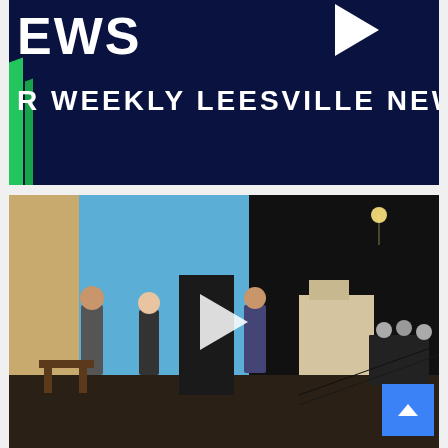[Figure (screenshot): Video thumbnail showing 'WEEKLY LEESVILLE NEWS' banner with white bold text on dark navy background with green diagonal stripe and play button icon]
[Figure (photo): Theater stage rehearsal scene showing students performing with stage set pieces including a blue backdrop, black rectangular prop, and other set pieces. Several performers are walking on stage while others sit in background. A play button overlay indicates this is a video thumbnail.]